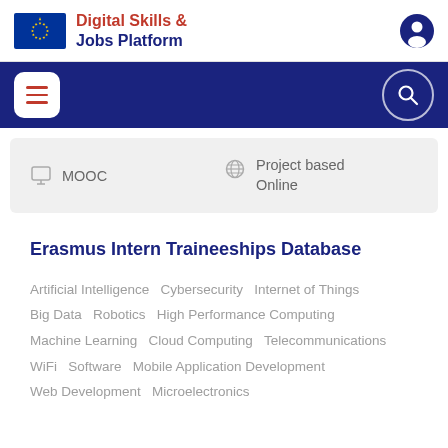Digital Skills & Jobs Platform
MOOC   Project based Online
Erasmus Intern Traineeships Database
Artificial Intelligence  Cybersecurity  Internet of Things  Big Data  Robotics  High Performance Computing  Machine Learning  Cloud Computing  Telecommunications  WiFi  Software  Mobile Application Development  Web Development  Microelectronics